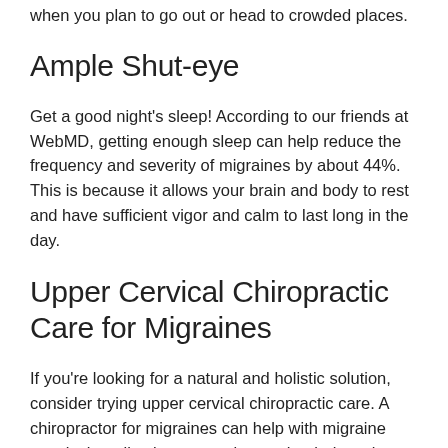when you plan to go out or head to crowded places.
Ample Shut-eye
Get a good night's sleep! According to our friends at WebMD, getting enough sleep can help reduce the frequency and severity of migraines by about 44%. This is because it allows your brain and body to rest and have sufficient vigor and calm to last long in the day.
Upper Cervical Chiropractic Care for Migraines
If you're looking for a natural and holistic solution, consider trying upper cervical chiropractic care. A chiropractor for migraines can help with migraine attacks by adjusting your spine so that it doesn't put pressure on any nerves or cause discomfort in other parts of your body, such as the neck and shoulder